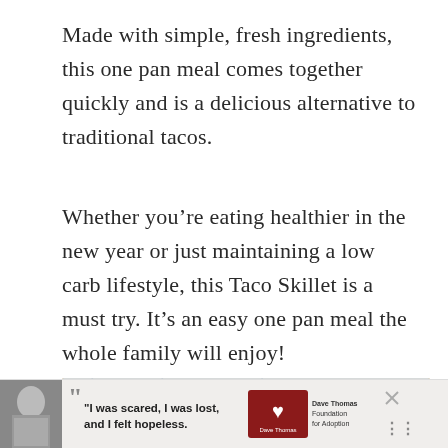Made with simple, fresh ingredients, this one pan meal comes together quickly and is a delicious alternative to traditional tacos.
Whether you’re eating healthier in the new year or just maintaining a low carb lifestyle, this Taco Skillet is a must try. It’s an easy one pan meal the whole family will enjoy!
[Figure (photo): Wooden slotted spoon resting on a light cloth with a wooden bowl or pan edge visible, with a heart/save button showing 8.1K saves]
[Figure (infographic): Advertisement banner: black and white photo of a woman, quote text 'I was scared, I was lost, and I felt hopeless.' with Dave Thomas Foundation for Adoption logo]